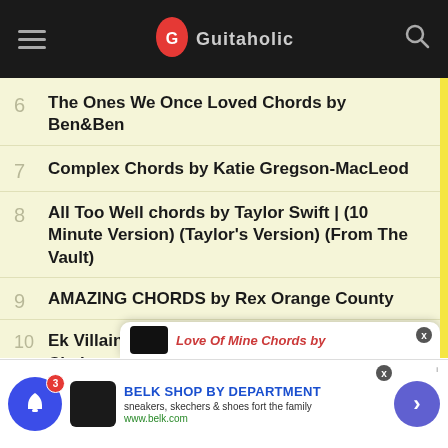Guitaholic navigation bar
6  The Ones We Once Loved Chords by Ben&Ben
7  Complex Chords by Katie Gregson-MacLeod
8  All Too Well chords by Taylor Swift | (10 Minute Version) (Taylor's Version) (From The Vault)
9  AMAZING CHORDS by Rex Orange County
10  Ek Villain Returns – Dil chords by Raghav Chaitanya
Love Of Mine Chords by...
BELK SHOP BY DEPARTMENT
sneakers, skechers & shoes fort the family
www.belk.com